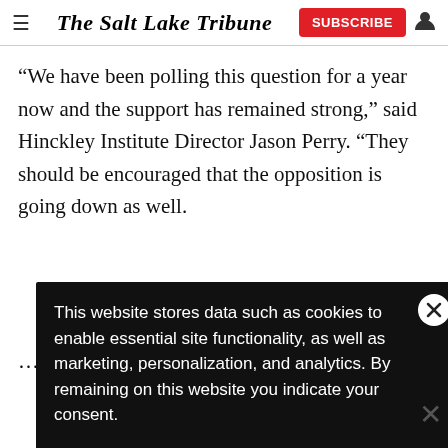The Salt Lake Tribune
“We have been polling this question for a year now and the support has remained strong,” said Hinckley Institute Director Jason Perry. “They should be encouraged that the opposition is going down as well. … them.”
This website stores data such as cookies to enable essential site functionality, as well as marketing, personalization, and analytics. By remaining on this website you indicate your consent.
Data Storage Policy